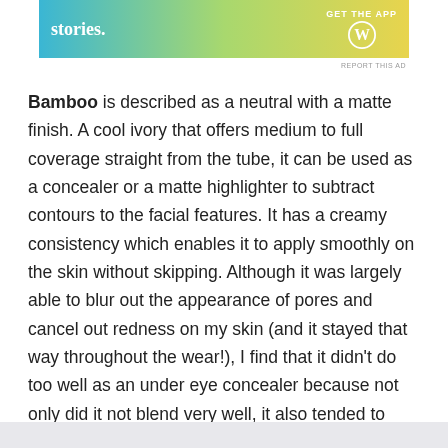[Figure (screenshot): Advertisement banner with gradient background (teal to green to yellow), showing 'stories.' text in white on left, 'GET THE APP' text and WordPress logo on right]
Bamboo is described as a neutral with a matte finish. A cool ivory that offers medium to full coverage straight from the tube, it can be used as a concealer or a matte highlighter to subtract contours to the facial features. It has a creamy consistency which enables it to apply smoothly on the skin without skipping. Although it was largely able to blur out the appearance of pores and cancel out redness on my skin (and it stayed that way throughout the wear!), I find that it didn't do too well as an under eye concealer because not only did it not blend very well, it also tended to accentuate the dryness and settle into the lines of that delicate area. But so long as you don't use it directly below your eyes, it shouldn't pose any issues.